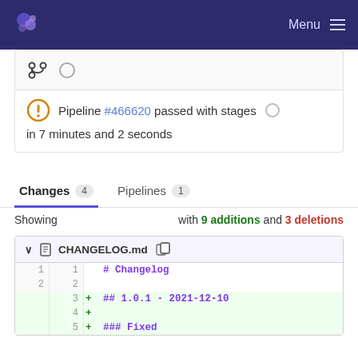Menu
[Figure (screenshot): Merged branch icon with radio button]
Pipeline #466620 passed with stages in 7 minutes and 2 seconds
Changes 4   Pipelines 1
Showing with 9 additions and 3 deletions
CHANGELOG.md
| old | new |  | code |
| --- | --- | --- | --- |
| 1 | 1 |  | # Changelog |
| 2 | 2 |  |  |
|  | 3 | + | ## 1.0.1 - 2021-12-10 |
|  | 4 | + |  |
|  | 5 | + | ### Fixed |